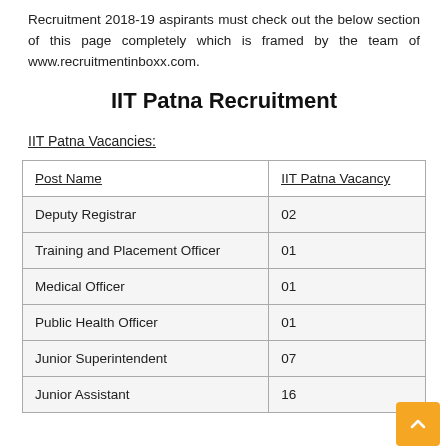Recruitment 2018-19 aspirants must check out the below section of this page completely which is framed by the team of www.recruitmentinboxx.com.
IIT Patna Recruitment
IIT Patna Vacancies:
| Post Name | IIT Patna Vacancy |
| --- | --- |
| Deputy Registrar | 02 |
| Training and Placement Officer | 01 |
| Medical Officer | 01 |
| Public Health Officer | 01 |
| Junior Superintendent | 07 |
| Junior Assistant | 16 |